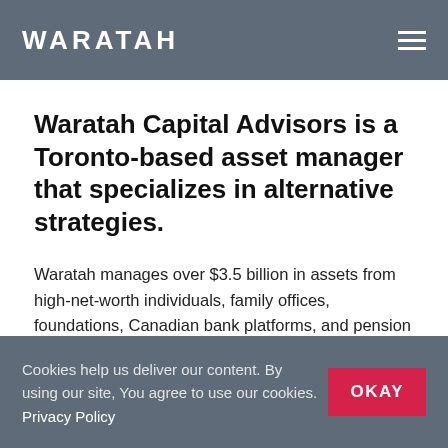WARATAH
Waratah Capital Advisors is a Toronto-based asset manager that specializes in alternative strategies.
Waratah manages over $3.5 billion in assets from high-net-worth individuals, family offices, foundations, Canadian bank platforms, and pension funds. With a team of 50 experienced professionals, Waratah combines intensive
Cookies help us deliver our content. By using our site, You agree to use our cookies. Privacy Policy